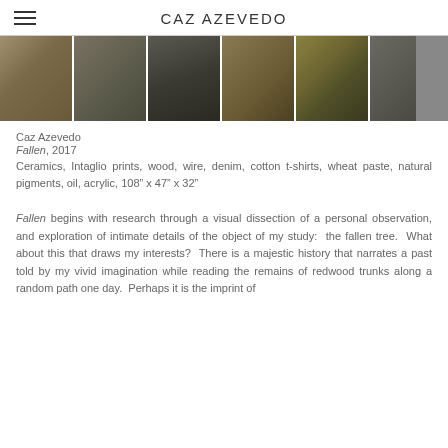CAZ AZEVEDO
[Figure (photo): A horizontal strip of six thumbnail photographs showing sculptural artwork details — ceramic and mixed media pieces including fallen tree-like forms, textured dark surfaces, a triangular sculptural piece, wood/wire/denim assemblages, and yellow-toned objects in a box.]
Caz Azevedo
Fallen, 2017
Ceramics, Intaglio prints, wood, wire, denim, cotton t-shirts, wheat paste, natural pigments, oil, acrylic, 108" x 47" x 32"
Fallen begins with research through a visual dissection of a personal observation, and exploration of intimate details of the object of my study:  the fallen tree.  What about this that draws my interests?  There is a majestic history that narrates a past told by my vivid imagination while reading the remains of redwood trunks along a random path one day.  Perhaps it is the imprint of